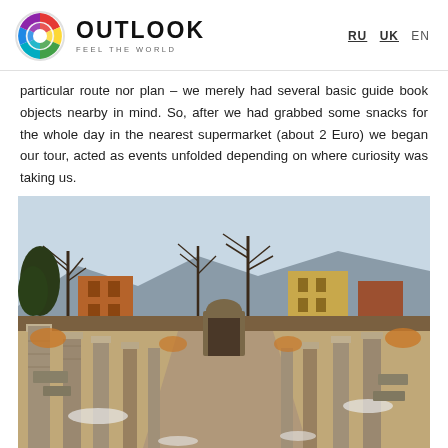OUTLOOK FEEL THE WORLD | RU UK EN
particular route nor plan – we merely had several basic guide book objects nearby in mind. So, after we had grabbed some snacks for the whole day in the nearest supermarket (about 2 Euro) we began our tour, acted as events unfolded depending on where curiosity was taking us.
[Figure (photo): Ancient Roman ruins with stone and brick columns lining a cobblestone street, with bare trees and a historic building in the background, likely Pompeii or similar archaeological site in winter.]